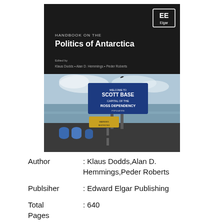[Figure (illustration): Book cover of 'Handbook on the Politics of Antarctica' published by Edward Elgar. Black upper section with EE Elgar logo, title text 'HANDBOOK ON THE Politics of Antarctica', editors 'Klaus Dodds • Alan D. Hemmings • Peder Roberts', and lower section showing a photo of Scott Base sign reading 'WELCOME TO SCOTT BASE CAPITAL OF THE ROSS DEPENDENCY' with ocean in background.]
Author : Klaus Dodds,Alan D. Hemmings,Peder Roberts
Publsiher : Edward Elgar Publishing
Total Pages : 640